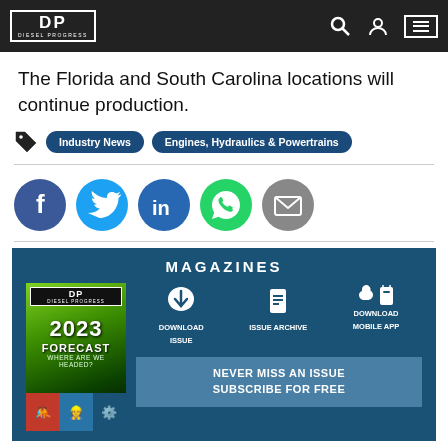Diesel Progress
The Florida and South Carolina locations will continue production.
Industry News | Engines, Hydraulics & Powertrains
[Figure (infographic): Social sharing icons: Facebook, Twitter, LinkedIn, WhatsApp, Email]
[Figure (infographic): Magazines section: Diesel Progress 2023 Forecast magazine cover with Download Issue, Issue Archive, Download Mobile App buttons and Never Miss An Issue Subscribe for Free banner]